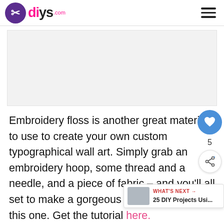diys.com
[Figure (photo): Placeholder image area, light gray background representing a DIY embroidery or craft photo]
Embroidery floss is another great material to use to create your own custom typographical wall art. Simply grab an embroidery hoop, some thread and a needle, and a piece of fabric – and you'll all set to make a gorgeous stitched piece like this one. Get the tutorial here.